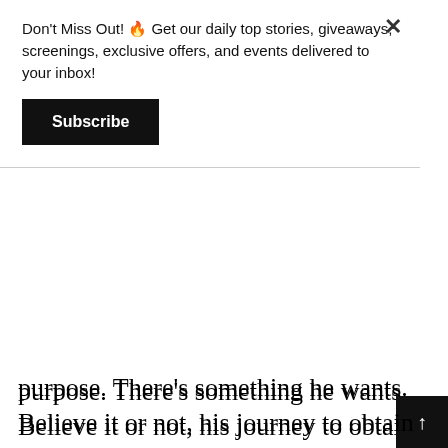Don't Miss Out! 🔥 Get our daily top stories, giveaways, screenings, exclusive offers, and events delivered to your inbox!
Subscribe
purpose. There's something he wants. Believe it or not, his journey to obtain it is just as entertaining as his destination to obtaining it. Those are the treats of Halloween.
Let me give you the dayum tricks. Some of these characters serve no purpose other than the sole purpose of getting killed. No more, no less. This would've worked fine way back in the day, but nowadays, character development is a big th… and the killings would've been more meaningful